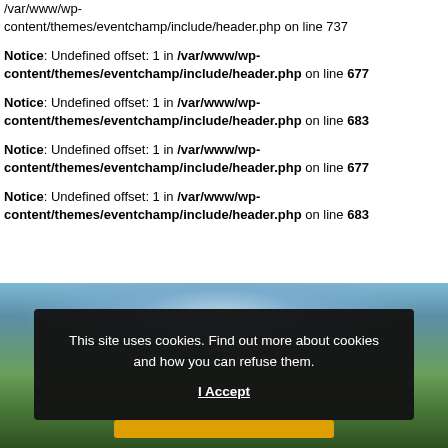content/themes/eventchamp/include/header.php on line 737
Notice: Undefined offset: 1 in /var/www/wp-content/themes/eventchamp/include/header.php on line 677
Notice: Undefined offset: 1 in /var/www/wp-content/themes/eventchamp/include/header.php on line 683
Notice: Undefined offset: 1 in /var/www/wp-content/themes/eventchamp/include/header.php on line 677
Notice: Undefined offset: 1 in /var/www/wp-content/themes/eventchamp/include/header.php on line 683
[Figure (photo): Outdoor landscape photo showing trees and sky, partially visible behind cookie consent overlay]
This site uses cookies. Find out more about cookies and how you can refuse them. I Accept